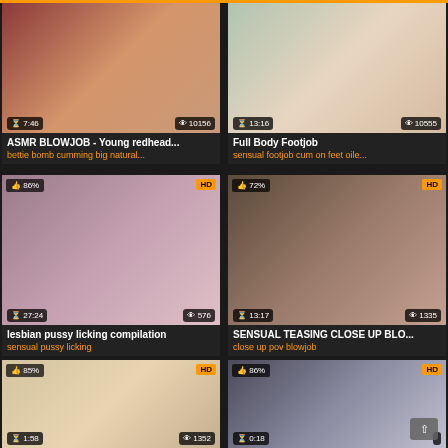[Figure (screenshot): Video thumbnail grid showing adult video website with 6 video cards in 2-column layout. Each card has a thumbnail image, duration, view count, title, and tags.]
ASMR BLOWJOB - Young redhead...
bettie bomb cumming big natural...
Full Body Footjob
sensual footjob cum on feet oile...
lesbian pussy licking compilation
sensual pussy licking
SENSUAL TEASING CLOSE UP BLO...
close up pov blowjob